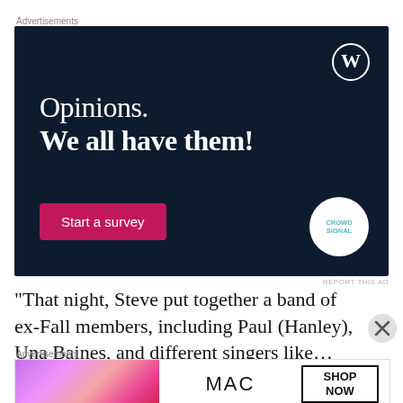[Figure (screenshot): WordPress/CrowdSignal advertisement with dark navy background. Text reads 'Opinions. We all have them!' with a pink 'Start a survey' button and CrowdSignal logo circle. WordPress logo in top right.]
REPORT THIS AD
“That night, Steve put together a band of ex-Fall members, including Paul (Hanley), Una Baines, and different singers like…
[Figure (screenshot): MAC Cosmetics advertisement showing colorful lipsticks on left, MAC logo in center, and SHOP NOW box on right.]
REPORT THIS AD